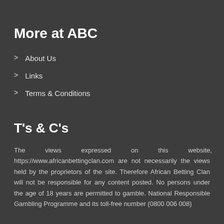More at ABC
About Us
Links
Terms & Conditions
T's & C's
The views expressed on this website, https://www.africanbettingclan.com are not necessarily the views held by the proprietors of the site. Therefore African Betting Clan will not be responsible for any content posted. No persons under the age of 18 years are permitted to gamble. National Responsible Gambling Programme and its toll-free number (0800 006 008)
Privacy Policy | Cookie Policy